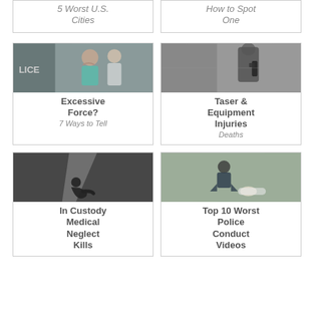[Figure (infographic): Partial top card left - text: 5 Worst U.S. Cities]
[Figure (infographic): Partial top card right - text: How to Spot One]
[Figure (photo): Card: Excessive Force? 7 Ways to Tell - photo of people near police officer]
[Figure (photo): Card: Taser & Equipment Injuries Deaths - photo of police equipment]
[Figure (photo): Card: In Custody Medical Neglect Kills - photo of person in dark room]
[Figure (photo): Card: Top 10 Worst Police Conduct Videos - photo of police with person on ground]